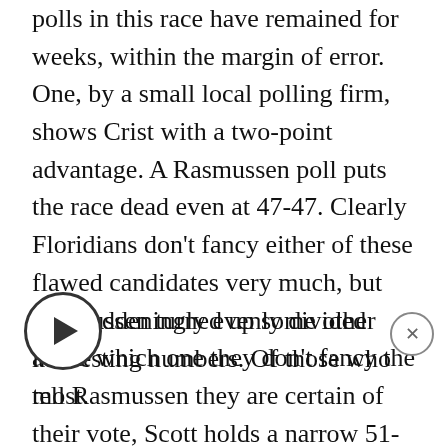polls in this race have remained for weeks, within the margin of error. One, by a small local polling firm, shows Crist with a two-point advantage. A Rasmussen poll puts the race dead even at 47-47. Clearly Floridians don't fancy either of these flawed candidates very much, but are maddeningly evenly divided about which one they don't fancy the most.
Rasmussen turned up some other interesting numbers. Of those who tell Rasmussen they are certain of their vote, Scott holds a narrow 51-49 lead. It's 48 to 47 Scott among those who say they are certain they will vote. Among those who say they might change their mind about who to vote